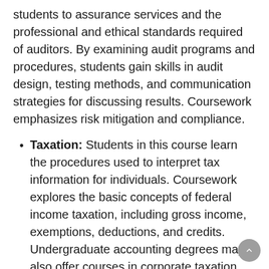students to assurance services and the professional and ethical standards required of auditors. By examining audit programs and procedures, students gain skills in audit design, testing methods, and communication strategies for discussing results. Coursework emphasizes risk mitigation and compliance.
Taxation: Students in this course learn the procedures used to interpret tax information for individuals. Coursework explores the basic concepts of federal income taxation, including gross income, exemptions, deductions, and credits. Undergraduate accounting degrees may also offer courses in corporate taxation, focusing on requirements and procedures for businesses.
Accounting Jobs
A bachelor's degree in accounting gives students a solid